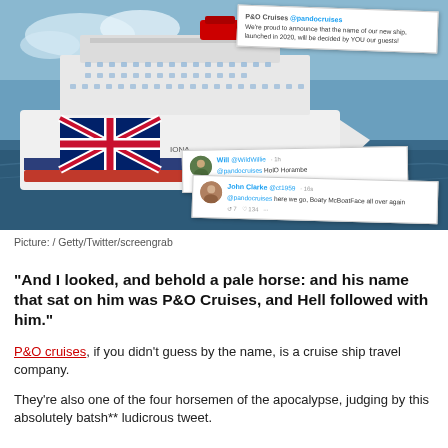[Figure (photo): P&O cruise ship at sea with Union Jack livery on hull, overlaid with screenshots of tweets: one from P&O Cruises announcing ship name vote, one from Will (@WildWillie) saying '@pandocruises HolO Horambe', one from John Clarke saying '@pandocruises here we go, Boaty McBoatFace all over again']
Picture: / Getty/Twitter/screengrab
"And I looked, and behold a pale horse: and his name that sat on him was P&O Cruises, and Hell followed with him."
P&O cruises, if you didn't guess by the name, is a cruise ship travel company.
They're also one of the four horsemen of the apocalypse, judging by this absolutely batsh** ludicrous tweet.